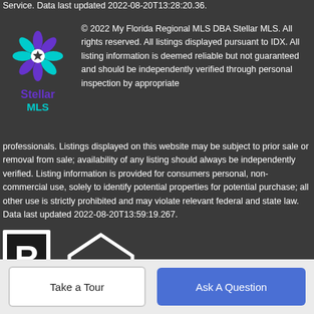Service. Data last updated 2022-08-20T13:28:20.36.
[Figure (logo): Stellar MLS logo — colorful snowflake/star shape in teal and purple above the text 'Stellar MLS']
© 2022 My Florida Regional MLS DBA Stellar MLS. All rights reserved. All listings displayed pursuant to IDX. All listing information is deemed reliable but not guaranteed and should be independently verified through personal inspection by appropriate professionals. Listings displayed on this website may be subject to prior sale or removal from sale; availability of any listing should always be independently verified. Listing information is provided for consumers personal, non-commercial use, solely to identify potential properties for potential purchase; all other use is strictly prohibited and may violate relevant federal and state law. Data last updated 2022-08-20T13:59:19.267.
[Figure (logo): Realtor R logo (white R in black square frame) and Equal Housing Opportunity logo (white house outline with equals sign)]
Take a Tour
Ask A Question